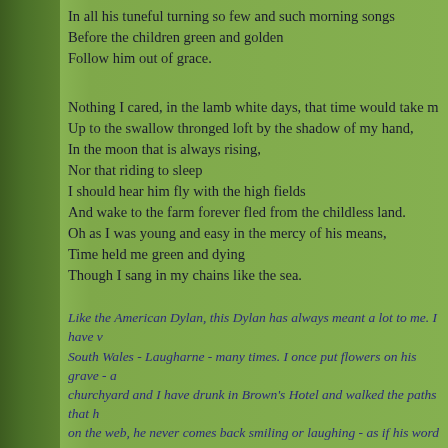In all his tuneful turning so few and such morning songs
Before the children green and golden
Follow him out of grace.
Nothing I cared, in the lamb white days, that time would take me
Up to the swallow thronged loft by the shadow of my hand,
In the moon that is always rising,
Nor that riding to sleep
I should hear him fly with the high fields
And wake to the farm forever fled from the childless land.
Oh as I was young and easy in the mercy of his means,
Time held me green and dying
Though I sang in my chains like the sea.
Like the American Dylan, this Dylan has always meant a lot to me. I have visited South Wales - Laugharne - many times. I once put flowers on his grave - a churchyard and I have drunk in Brown's Hotel and walked the paths that h on the web, he never comes back smiling or laughing - as if his word wrest morose, not quite in tune with the real world that most of us occupy... "thou